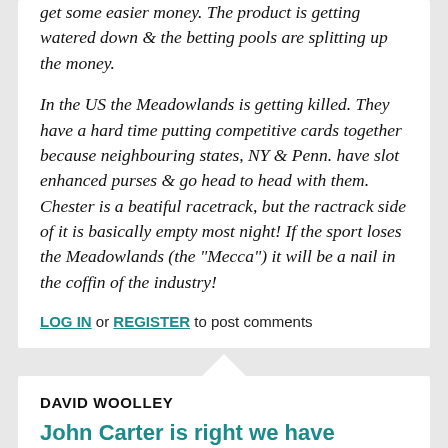get some easier money. The product is getting watered down & the betting pools are splitting up the money.

In the US the Meadowlands is getting killed. They have a hard time putting competitive cards together because neighbouring states, NY & Penn. have slot enhanced purses & go head to head with them. Chester is a beatiful racetrack, but the ractrack side of it is basically empty most night! If the sport loses the Meadowlands (the "Mecca") it will be a nail in the coffin of the industry!
LOG IN or REGISTER to post comments
DAVID WOOLLEY
John Carter is right we have